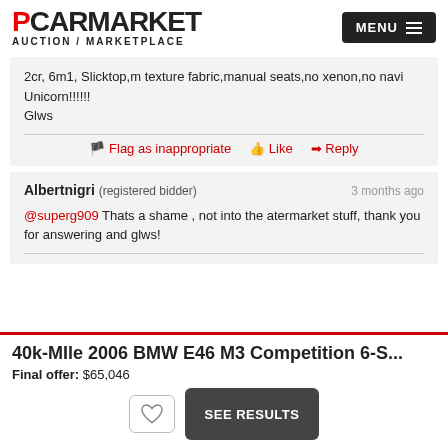PCARMARKET AUCTION / MARKETPLACE
2cr, 6m1, Slicktop,m texture fabric,manual seats,no xenon,no navi
Unicorn!!!!!!
Glws
Flag as inappropriate  Like  Reply
Albertnigri (registered bidder)  3 months ago
@superg909 Thats a shame , not into the atermarket stuff, thank you for answering and glws!
40k-MIle 2006 BMW E46 M3 Competition 6-S...
Final offer: $65,046
SEE RESULTS